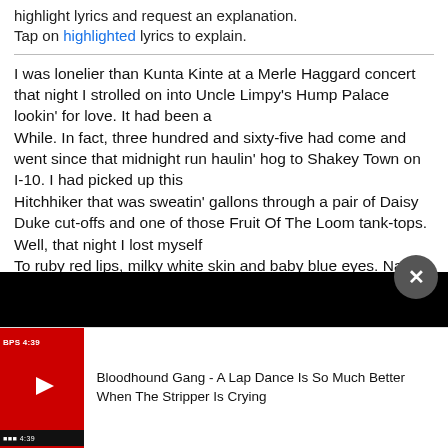highlight lyrics and request an explanation. Tap on highlighted lyrics to explain.
I was lonelier than Kunta Kinte at a Merle Haggard concert that night I strolled on into Uncle Limpy's Hump Palace lookin' for love. It had been a While. In fact, three hundred and sixty-five had come and went since that midnight run haulin' hog to Shakey Town on I-10. I had picked up this Hitchhiker that was sweatin' gallons through a pair of Daisy Duke cut-offs and one of those Fruit Of The Loom tank-tops. Well, that night I lost myself To ruby red lips, milky white skin and baby blue eyes. Name was Russell.
Yes a lap dance is so much better when the stripper is cryin'
Yes a lap dance is so much better when the stripper is cryin'
[Figure (screenshot): Black video overlay bar with close button (X) in grey circle]
[Figure (screenshot): YouTube video thumbnail with red play button and video title: Bloodhound Gang - A Lap Dance Is So Much Better When The Stripper Is Crying]